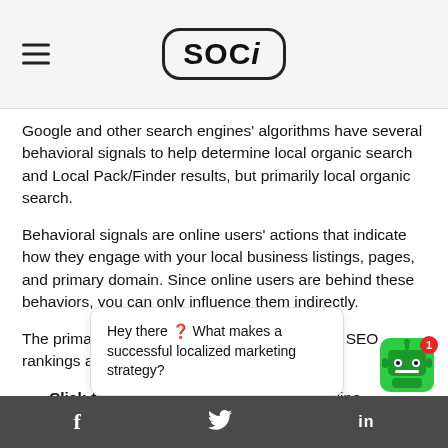SOCi
Google and other search engines’ algorithms have several behavioral signals to help determine local organic search and Local Pack/Finder results, but primarily local organic search.
Behavioral signals are online users’ actions that indicate how they engage with your local business listings, pages, and primary domain. Since online users are behind these behaviors, you can only influence them indirectly.
The primary behavioral signals that affect local SEO rankings are:
Click-through rate (CTR): Clicks from online searches
Social [media] — social media “ch[eckins]” [always] location.